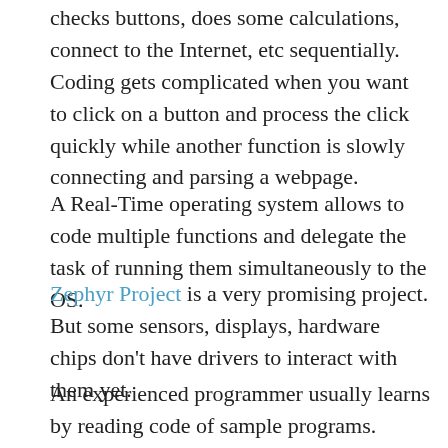checks buttons, does some calculations, connect to the Internet, etc sequentially. Coding gets complicated when you want to click on a button and process the click quickly while another function is slowly connecting and parsing a webpage.
A Real-Time operating system allows to code multiple functions and delegate the task of running them simultaneously to the OS.
Zephyr Project is a very promising project. But some sensors, displays, hardware chips don't have drivers to interact with them yet.
An experienced programmer usually learns by reading code of sample programs. Zephyr provides some examples.